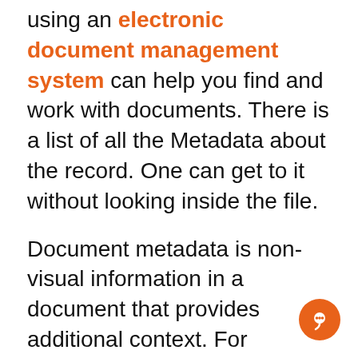using an electronic document management system can help you find and work with documents. There is a list of all the Metadata about the record. One can get to it without looking inside the file.
Document metadata is non-visual information in a document that provides additional context. For example, the document's creator and the date it was created. Good Metadata can help in classifying documents and file format. For example, users can specify whether a record is for internal use only or is publicly available. Adding Metadata to a